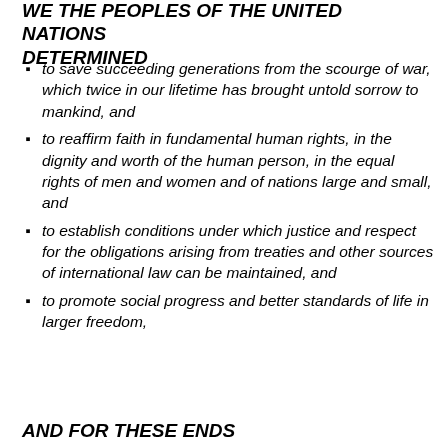WE THE PEOPLES OF THE UNITED NATIONS DETERMINED
to save succeeding generations from the scourge of war, which twice in our lifetime has brought untold sorrow to mankind, and
to reaffirm faith in fundamental human rights, in the dignity and worth of the human person, in the equal rights of men and women and of nations large and small, and
to establish conditions under which justice and respect for the obligations arising from treaties and other sources of international law can be maintained, and
to promote social progress and better standards of life in larger freedom,
AND FOR THESE ENDS